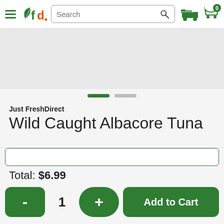[Figure (screenshot): FreshDirect website header with hamburger menu, leaf+fd logo, search bar, delivery truck icon, and cart icon showing 0]
[Figure (photo): Product image area (gray placeholder) for Wild Caught Albacore Tuna]
Just FreshDirect
Wild Caught Albacore Tuna
6oz | $18.64/lb
$6.99/ea
Total: $6.99
- 1 + Add to Cart